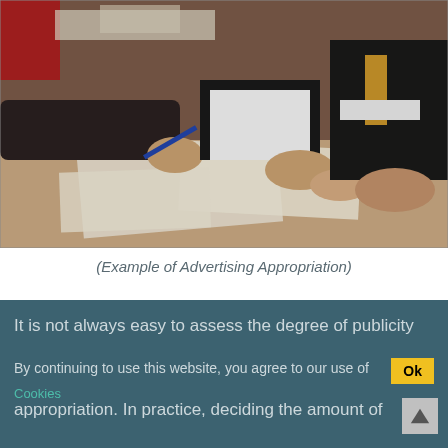[Figure (photo): Business meeting scene showing multiple people at a table with papers and pens, hands visible, one person wearing a suit with a yellow tie]
(Example of Advertising Appropriation)
It is not always easy to assess the degree of publicity appropriation. In practice, deciding the amount of money it can allocate to its advertising budget is not always easy for an organization. This is due to the absence, in many instances, of a clear relationship
By continuing to use this website, you agree to our use of Cookies